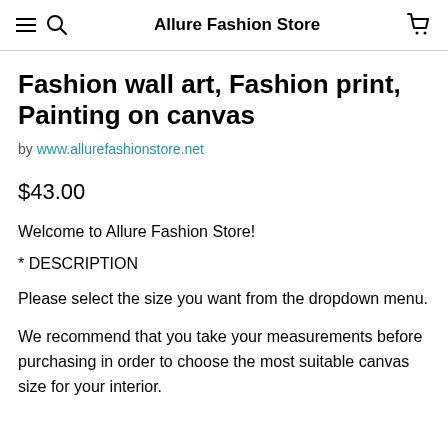Allure Fashion Store
Fashion wall art, Fashion print, Painting on canvas
by www.allurefashionstore.net
$43.00
Welcome to Allure Fashion Store!
* DESCRIPTION
Please select the size you want from the dropdown menu.
We recommend that you take your measurements before purchasing in order to choose the most suitable canvas size for your interior.